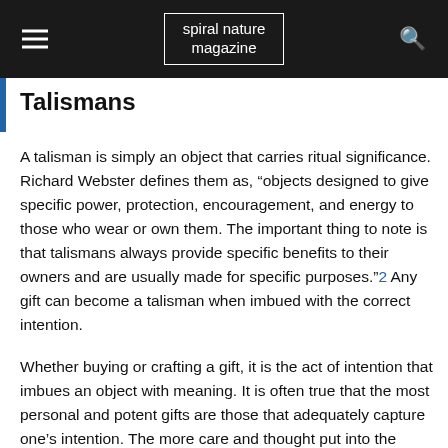spiral nature magazine
Talismans
A talisman is simply an object that carries ritual significance. Richard Webster defines them as, “objects designed to give specific power, protection, encouragement, and energy to those who wear or own them. The important thing to note is that talismans always provide specific benefits to their owners and are usually made for specific purposes.”2 Any gift can become a talisman when imbued with the correct intention.
Whether buying or crafting a gift, it is the act of intention that imbues an object with meaning. It is often true that the most personal and potent gifts are those that adequately capture one’s intention. The more care and thought put into the object itself, the more it communicates the meaning in your